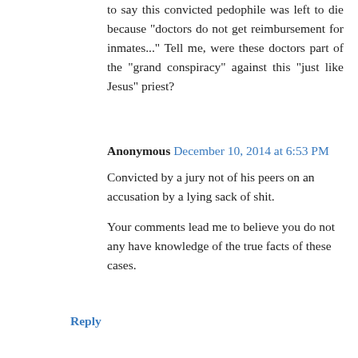to say this convicted pedophile was left to die because "doctors do not get reimbursement for inmates..." Tell me, were these doctors part of the "grand conspiracy" against this "just like Jesus" priest?
Anonymous December 10, 2014 at 6:53 PM
Convicted by a jury not of his peers on an accusation by a lying sack of shit.
Your comments lead me to believe you do not any have knowledge of the true facts of these cases.
Reply